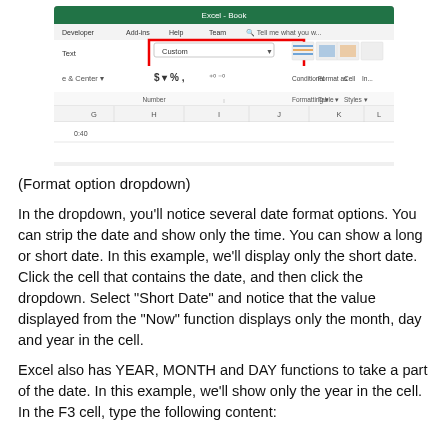[Figure (screenshot): Screenshot of Microsoft Excel ribbon showing the Number group with a 'Custom' format dropdown highlighted in a red box, and the spreadsheet cells below with column headers G, H, I, J, K, L and cell showing '0:40'.]
(Format option dropdown)
In the dropdown, you'll notice several date format options. You can strip the date and show only the time. You can show a long or short date. In this example, we'll display only the short date. Click the cell that contains the date, and then click the dropdown. Select "Short Date" and notice that the value displayed from the "Now" function displays only the month, day and year in the cell.
Excel also has YEAR, MONTH and DAY functions to take a part of the date. In this example, we'll show only the year in the cell. In the F3 cell, type the following content: